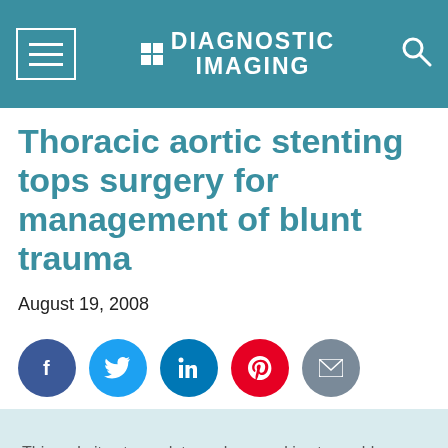DIAGNOSTIC IMAGING
Thoracic aortic stenting tops surgery for management of blunt trauma
August 19, 2008
[Figure (infographic): Social sharing icons row: Facebook (blue circle), Twitter (light blue circle), LinkedIn (blue circle), Pinterest (red circle), Email (grey circle)]
This website stores data such as cookies to enable essential site functionality, as well as marketing, personalization, and analytics. Cookie Policy
Accept
Deny